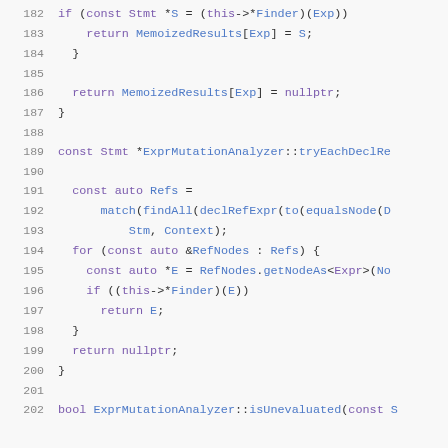Source code listing lines 182-202, C++ code for ExprMutationAnalyzer
182: if (const Stmt *S = (this->*Finder)(Exp))
183:     return MemoizedResults[Exp] = S;
184: }
185: (blank)
186: return MemoizedResults[Exp] = nullptr;
187: }
188: (blank)
189: const Stmt *ExprMutationAnalyzer::tryEachDeclRe...
190: (blank)
191:   const auto Refs =
192:       match(findAll(declRefExpr(to(equalsNode(D...
193:           Stm, Context);
194:   for (const auto &RefNodes : Refs) {
195:     const auto *E = RefNodes.getNodeAs<Expr>(No...
196:     if ((this->*Finder)(E))
197:       return E;
198:   }
199:   return nullptr;
200: }
201: (blank)
202: bool ExprMutationAnalyzer::isUnevaluated(const S...